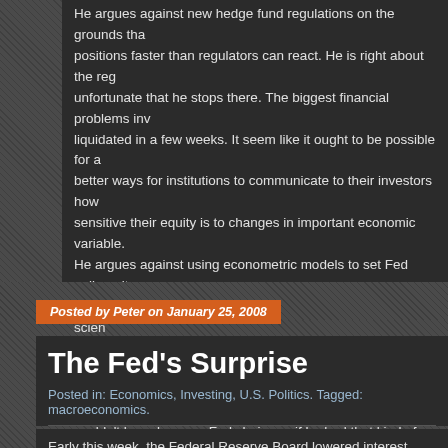He argues against new hedge fund regulations on the grounds that positions faster than regulators can react. He is right about the reg unfortunate that he stops there. The biggest financial problems inv liquidated in a few weeks. It seem like it ought to be possible for a better ways for institutions to communicate to their investors how sensitive their equity is to changes in important economic variable. He argues against using econometric models to set Fed policy, cit things like NAIRU and GDP, but if he was really interested in scien didn't he try to create models based on more relevant and timelier way he did when he had a job that depended on providing busines couldn't have become Fed chairman if he had that kind of desire. I listened to the cd version of this book because I got it as a prese had essentially no cost. I wouldn't have bought it or read the dead
Posted by Peter on January 25, 2008
The Fed's Surprise
Posted in: Economics, Investing, U.S. Politics. Tagged: macroeconomics.
Early this week, the Federal Reserve Board lowered interest rat...